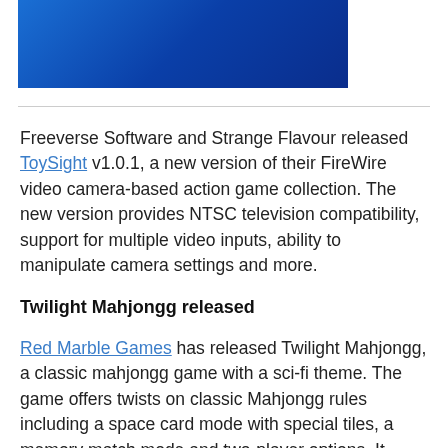[Figure (illustration): Blue gradient rectangle image at top of page]
Freeverse Software and Strange Flavour released ToySight v1.0.1, a new version of their FireWire video camera-based action game collection. The new version provides NTSC television compatibility, support for multiple video inputs, ability to manipulate camera settings and more.
Twilight Mahjongg released
Red Marble Games has released Twilight Mahjongg, a classic mahjongg game with a sci-fi theme. The game offers twists on classic Mahjongg rules including a space card mode with special tiles, a memory match mode and two-player options. It